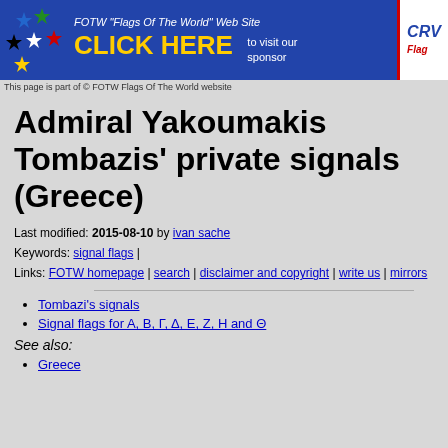[Figure (infographic): FOTW Flags Of The World banner advertisement with stars and CLICK HERE text]
This page is part of © FOTW Flags Of The World website
Admiral Yakoumakis Tombazis' private signals (Greece)
Last modified: 2015-08-10 by ivan sache
Keywords: signal flags |
Links: FOTW homepage | search | disclaimer and copyright | write us | mirrors
Tombazi's signals
Signal flags for A, B, Γ, Δ, Ε, Ζ, Η and Θ
See also:
Greece